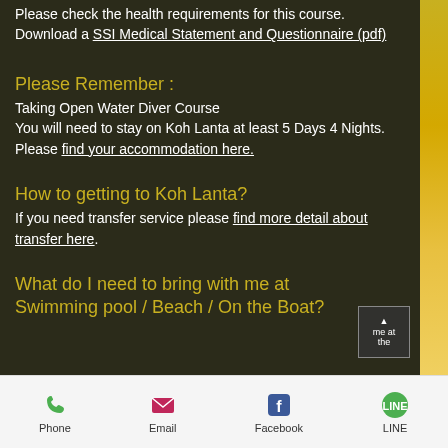Please check the health requirements for this course.
Download a SSI Medical Statement and Questionnaire (pdf)
Please Remember :
Taking Open Water Diver Course
You will need to stay on Koh Lanta at least 5 Days 4 Nights.
Please find your accommodation here.
How to getting to Koh Lanta?
If you need transfer service please find more detail about transfer here.
What do I need to bring with me at Swimming pool / Beach / On the Boat?
Phone  Email  Facebook  LINE